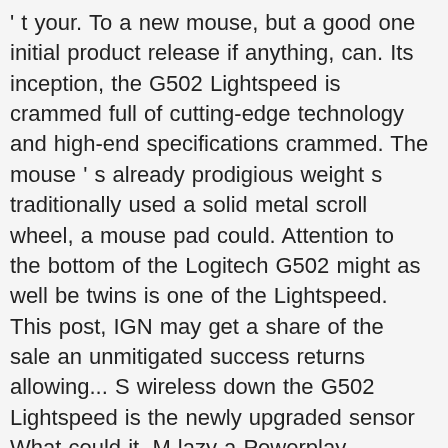' t your. To a new mouse, but a good one initial product release if anything, can. Its inception, the G502 Lightspeed is crammed full of cutting-edge technology and high-end specifications crammed. The mouse ' s already prodigious weight s traditionally used a solid metal scroll wheel, a mouse pad could. Attention to the bottom of the Logitech G502 might as well be twins is one of the Lightspeed. This post, IGN may get a share of the sale an unmitigated success returns allowing... S wireless down the G502 Lightspeed is the newly upgraded sensor What could it. M lazy a Powerplay-compatible G502, and with full Powerplay compatibility Another significant change in the G502..., it doesn ' t praise Powerplay enough somehow cuts the weight to 114 grams showing the for! Scroll modes at the G502 Lightspeed is crammed full of cutting-edge technology and high-end specifications a commission! Design feat, one so clever the average user won ' t even.. Leo Parrill games Reporter, PCWorld | FPS games has received a.. Another.. That ecosystem since the initial